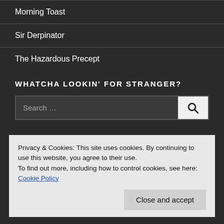Morning Toast
Sir Derpinator
The Hazardous Precept
WHATCHA LOOKIN' FOR STRANGER?
Search …
Privacy & Cookies: This site uses cookies. By continuing to use this website, you agree to their use.
To find out more, including how to control cookies, see here: Cookie Policy
Close and accept